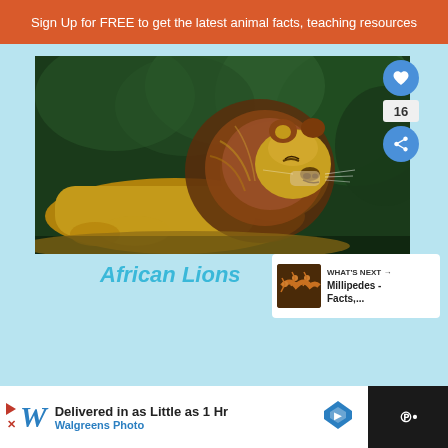Sign Up for FREE to get the latest animal facts, teaching resources
[Figure (photo): A male African lion resting, viewed from the side, with a large brown mane, against a dark green foliage background.]
African Lions
WHAT'S NEXT → Millipedes - Facts,...
Delivered in as Little as 1 Hr Walgreens Photo